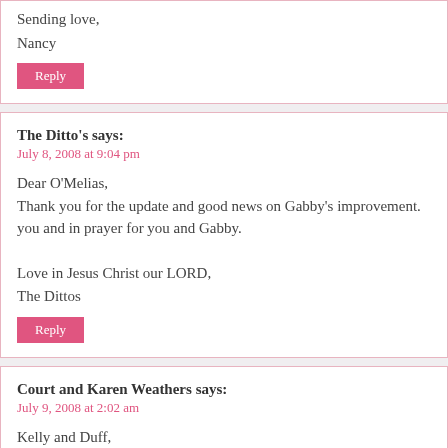Sending love,
Nancy
Reply
The Ditto's says:
July 8, 2008 at 9:04 pm
Dear O'Melias,
Thank you for the update and good news on Gabby's improvement. you and in prayer for you and Gabby.

Love in Jesus Christ our LORD,
The Dittos
Reply
Court and Karen Weathers says:
July 9, 2008 at 2:02 am
Kelly and Duff,